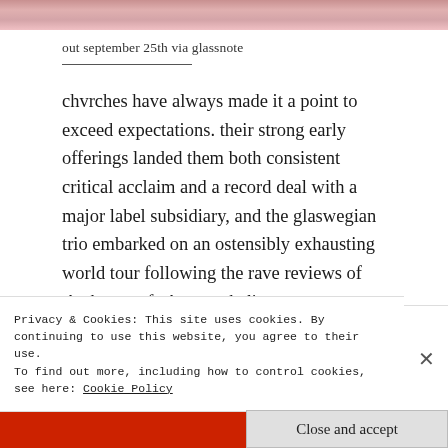[Figure (photo): Partial photo of a person with pink roses, cropped at top of page]
out september 25th via glassnote
chvrches have always made it a point to exceed expectations.  their strong early offerings landed them both consistent critical acclaim and a record deal with a major label subsidiary, and the glaswegian trio embarked on an ostensibly exhausting world tour following the rave reviews of the bones of what you believe.
Privacy & Cookies: This site uses cookies. By continuing to use this website, you agree to their use.
To find out more, including how to control cookies, see here: Cookie Policy
Close and accept